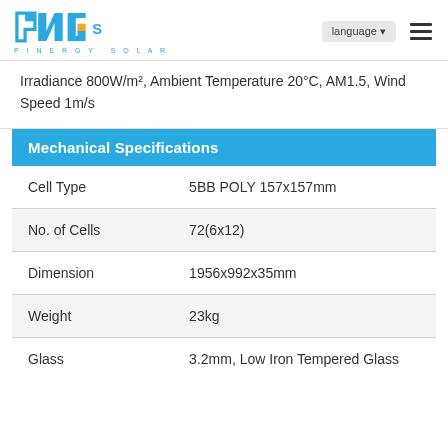PNG Solar — PINERGY SOLAR | language | menu
Irradiance 800W/m², Ambient Temperature 20°C, AM1.5, Wind Speed 1m/s
| Mechanical Specifications |  |
| --- | --- |
| Cell Type | 5BB POLY 157x157mm |
| No. of Cells | 72(6x12) |
| Dimension | 1956x992x35mm |
| Weight | 23kg |
| Glass | 3.2mm, Low Iron Tempered Glass |